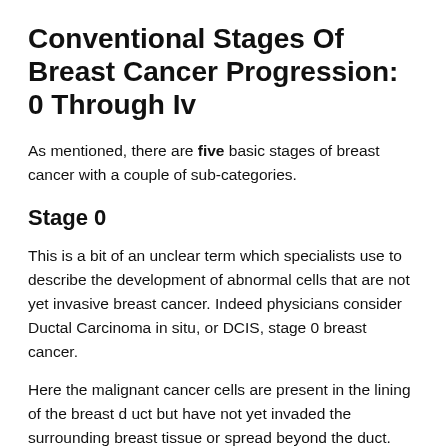Conventional Stages Of Breast Cancer Progression: 0 Through Iv
As mentioned, there are five basic stages of breast cancer with a couple of sub-categories.
Stage 0
This is a bit of an unclear term which specialists use to describe the development of abnormal cells that are not yet invasive breast cancer. Indeed physicians consider Ductal Carcinoma in situ, or DCIS, stage 0 breast cancer.
Here the malignant cancer cells are present in the lining of the breast d uct but have not yet invaded the surrounding breast tissue or spread beyond the duct. Almost 100% of DCIS is curable, but it obviously, does need treatment.